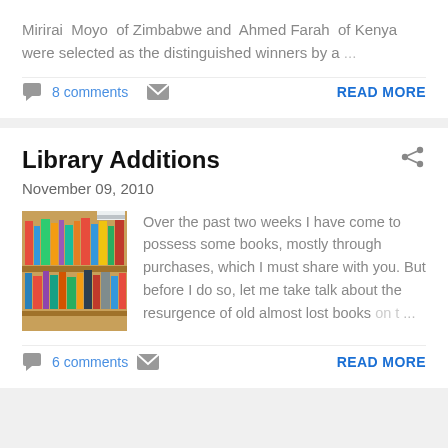Mirirai Moyo of Zimbabwe and Ahmed Farah of Kenya were selected as the distinguished winners by a …
8 comments
READ MORE
Library Additions
November 09, 2010
[Figure (photo): A bookshelf filled with many colorful books stacked and arranged in rows]
Over the past two weeks I have come to possess some books, mostly through purchases, which I must share with you. But before I do so, let me take talk about the resurgence of old almost lost books on t …
6 comments
READ MORE